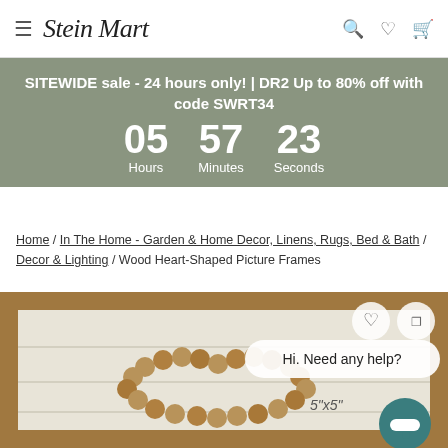≡ Stein Mart
SITEWIDE sale - 24 hours only! | DR2 Up to 80% off with code SWRT34
05 Hours  57 Minutes  23 Seconds
Home / In The Home - Garden & Home Decor, Linens, Rugs, Bed & Bath / Decor & Lighting / Wood Heart-Shaped Picture Frames
[Figure (photo): Wood heart-shaped picture frame product photo showing a rustic wooden frame with wooden bead heart decoration and text '5"x5"'. A chat widget showing 'Hi. Need any help?' is overlaid on the image.]